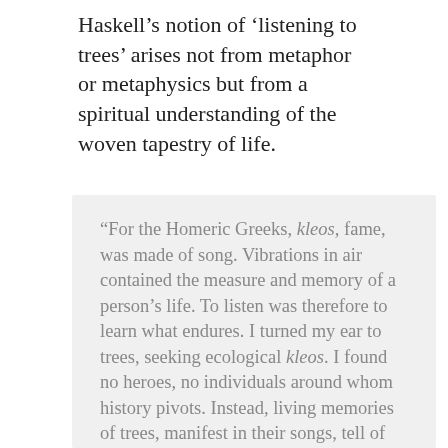Haskell's notion of 'listening to trees' arises not from metaphor or metaphysics but from a spiritual understanding of the woven tapestry of life.
“For the Homeric Greeks, kleos, fame, was made of song. Vibrations in air contained the measure and memory of a person's life. To listen was therefore to learn what endures. I turned my ear to trees, seeking ecological kleos. I found no heroes, no individuals around whom history pivots. Instead, living memories of trees, manifest in their songs, tell of life’s community, a net of relations. We humans belong within this conversation, as blood kin and incarnate members. To listen is therefore to hear our voices and those of our family…To listen is [cut off]